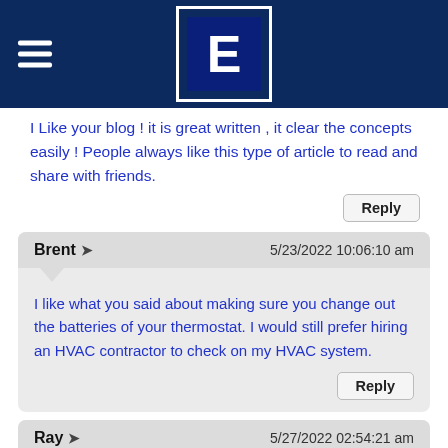[Figure (logo): Website header with dark navy background, hamburger menu icon on the left, and a square logo with the letter E in the center]
I Like your blog ! it is great written , it clear the concepts easily ! People always like this type of article to read and share with friends.
Reply
Brent → 5/23/2022 10:06:10 am
I like what you said about making sure you change out the batteries of your thermostat. I would still prefer hiring an HVAC contractor to check on my HVAC system.
Reply
Ray → 5/27/2022 02:54:21 am
Great article! Very helpful specially for ac unit owners.
Reply